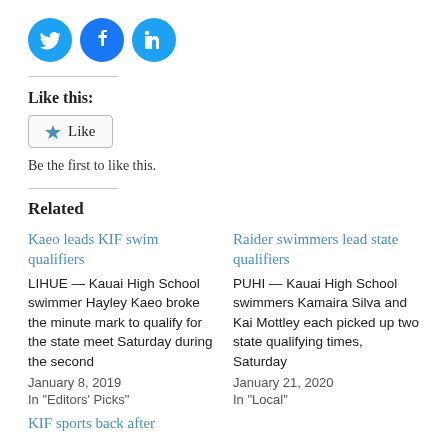[Figure (other): Social media share icons: Twitter (blue bird), Facebook (blue f), LinkedIn (blue in)]
Like this:
Like
Be the first to like this.
Related
Kaeo leads KIF swim qualifiers
LIHUE — Kauai High School swimmer Hayley Kaeo broke the minute mark to qualify for the state meet Saturday during the second
January 8, 2019
In "Editors' Picks"
Raider swimmers lead state qualifiers
PUHI — Kauai High School swimmers Kamaira Silva and Kai Mottley each picked up two state qualifying times, Saturday
January 21, 2020
In "Local"
KIF sports back after